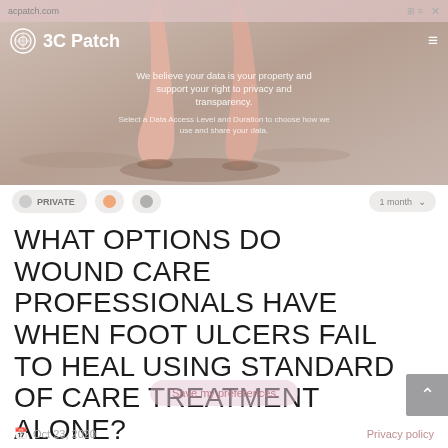[Figure (screenshot): Hero image of bare feet walking on sand, with 3C Patch website header overlay showing navigation bar with logo and hamburger menu, plus privacy/GDPR consent overlay text reading 'We believe your data is your property and support your right to privacy and transparency. Select a Data Access Level and Duration to choose how we use and share your data.']
PRIVATE
WHAT OPTIONS DO WOUND CARE PROFESSIONALS HAVE WHEN FOOT ULCERS FAIL TO HEAL USING STANDARD OF CARE TREATMENT ALONE?
Save my preferences
Oct 23, 2020   Privacy policy